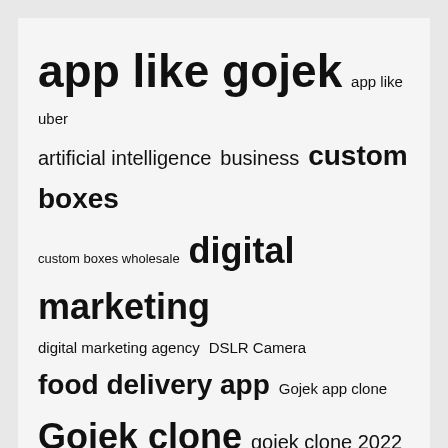[Figure (infographic): Tag cloud / word cloud showing various blog/article tags at different font sizes indicating frequency. Tags include: app like gojek, app like uber, artificial intelligence, business, custom boxes, custom boxes wholesale, digital marketing, digital marketing agency, DSLR Camera, food delivery app, Gojek app clone, Gojek clone, gojek clone 2022, gojek clone app, gojek clone script, Grocery Delivery App, Health Benefits, Healthy Diet, healthy lifestyle, Instagram followers, interior design, junk removal company, Junk Removal Service, Kingx 2022 App, Marketing Strategies, mental health, mobile app development]